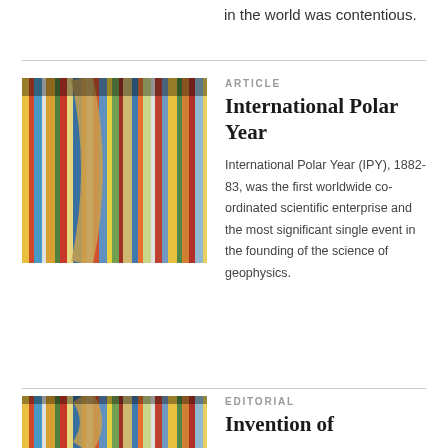in the world was contentious.
[Figure (photo): Close-up photo of colorful book spines on a shelf with a curved bookend]
ARTICLE
International Polar Year
International Polar Year (IPY), 1882-83, was the first worldwide co-ordinated scientific enterprise and the most significant single event in the founding of the science of geophysics.
[Figure (photo): Close-up photo of colorful book spines on a shelf with a curved bookend]
EDITORIAL
Invention of